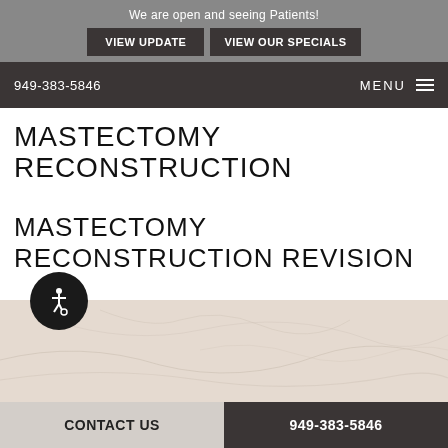We are open and seeing Patients!
VIEW UPDATE
VIEW OUR SPECIALS
949-383-5846   MENU
MASTECTOMY RECONSTRUCTION
MASTECTOMY RECONSTRUCTION REVISION
[Figure (illustration): Accessibility wheelchair icon button (circular black button)]
[Figure (photo): Beige/cream marble texture background image]
CONTACT US   949-383-5846